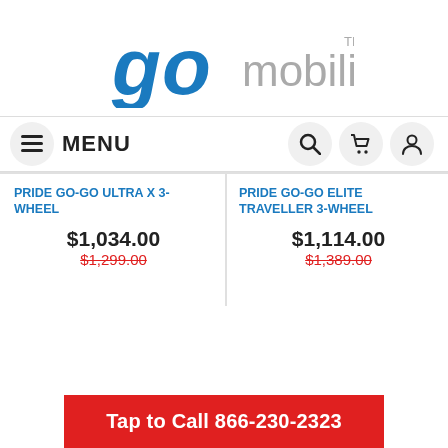[Figure (logo): go mobility logo — 'go' in blue bold italic with circular letter o, 'mobility' in light gray, TM superscript]
[Figure (screenshot): Navigation bar with hamburger menu icon, MENU text, search icon, cart icon, user icon]
PRIDE GO-GO ULTRA X 3-WHEEL
$1,034.00
$1,299.00
PRIDE GO-GO ELITE TRAVELLER 3-WHEEL
$1,114.00
$1,389.00
Tap to Call 866-230-2323